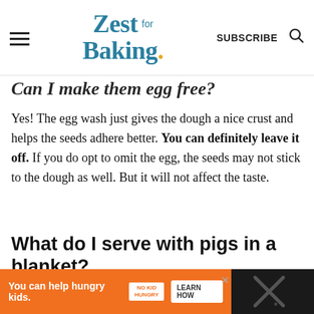Zest for Baking — SUBSCRIBE
Can I make them egg free?
Yes! The egg wash just gives the dough a nice crust and helps the seeds adhere better. You can definitely leave it off. If you do opt to omit the egg, the seeds may not stick to the dough as well. But it will not affect the taste.
What do I serve with pigs in a blanket?
[Figure (infographic): Orange advertisement banner: 'You can help hungry kids.' with No Kid Hungry logo and LEARN HOW button. Dark background with X close button.]